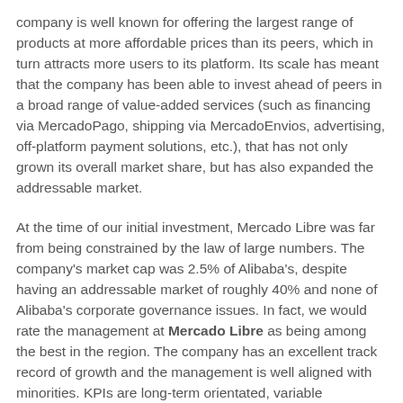company is well known for offering the largest range of products at more affordable prices than its peers, which in turn attracts more users to its platform. Its scale has meant that the company has been able to invest ahead of peers in a broad range of value-added services (such as financing via MercadoPago, shipping via MercadoEnvios, advertising, off-platform payment solutions, etc.), that has not only grown its overall market share, but has also expanded the addressable market.
At the time of our initial investment, Mercado Libre was far from being constrained by the law of large numbers. The company's market cap was 2.5% of Alibaba's, despite having an addressable market of roughly 40% and none of Alibaba's corporate governance issues. In fact, we would rate the management at Mercado Libre as being among the best in the region. The company has an excellent track record of growth and the management is well aligned with minorities. KPIs are long-term orientated, variable compensation vests over six years and the company has only one share class